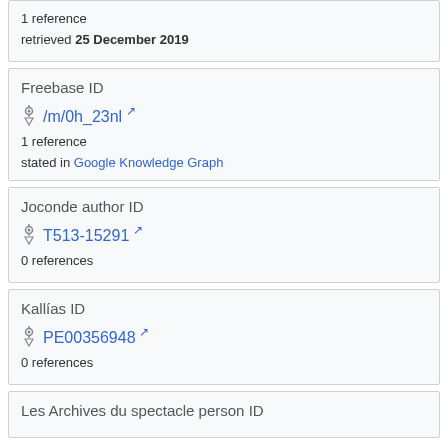1 reference
retrieved 25 December 2019
Freebase ID
/m/0h_23nl
1 reference
stated in Google Knowledge Graph
Joconde author ID
T513-15291
0 references
Kallías ID
PE00356948
0 references
Les Archives du spectacle person ID